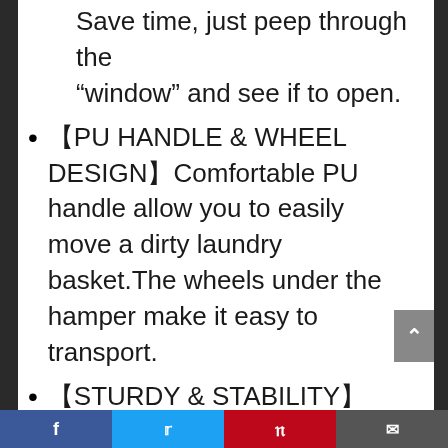Save time, just peep through the “window” and see if to open.
【PU HANDLE & WHEEL DESIGN】Comfortable PU handle allow you to easily move a dirty laundry basket.The wheels under the hamper make it easy to transport.
【STURDY & STABILITY】Oxford cloth is very sturdy ,so it is easy to care. A PE board in the bottom is good for stability. Apply to be used in apartment, home, college, nursery and so on.
【NOTICE】Plastic Windows may be